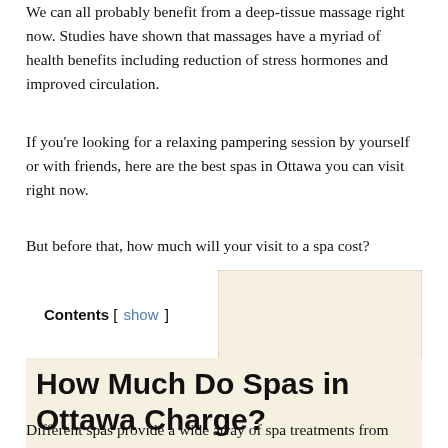We can all probably benefit from a deep-tissue massage right now. Studies have shown that massages have a myriad of health benefits including reduction of stress hormones and improved circulation.
If you're looking for a relaxing pampering session by yourself or with friends, here are the best spas in Ottawa you can visit right now.
But before that, how much will your visit to a spa cost?
Contents [ show ]
How Much Do Spas in Ottawa Charge?
Different spas provide a wide array of spa treatments from facial treatments to massage therapy sessions. We put a